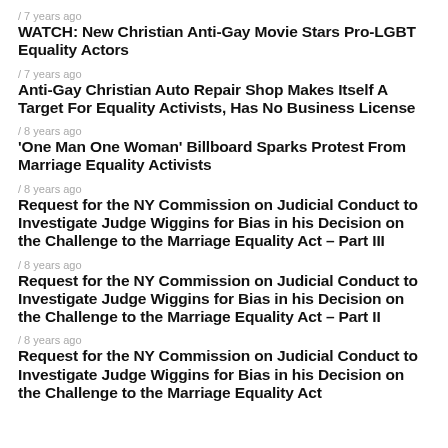/ 7 years ago
WATCH: New Christian Anti-Gay Movie Stars Pro-LGBT Equality Actors
/ 7 years ago
Anti-Gay Christian Auto Repair Shop Makes Itself A Target For Equality Activists, Has No Business License
/ 8 years ago
'One Man One Woman' Billboard Sparks Protest From Marriage Equality Activists
/ 8 years ago
Request for the NY Commission on Judicial Conduct to Investigate Judge Wiggins for Bias in his Decision on the Challenge to the Marriage Equality Act – Part III
/ 8 years ago
Request for the NY Commission on Judicial Conduct to Investigate Judge Wiggins for Bias in his Decision on the Challenge to the Marriage Equality Act – Part II
/ 8 years ago
Request for the NY Commission on Judicial Conduct to Investigate Judge Wiggins for Bias in his Decision on the Challenge to the Marriage Equality Act